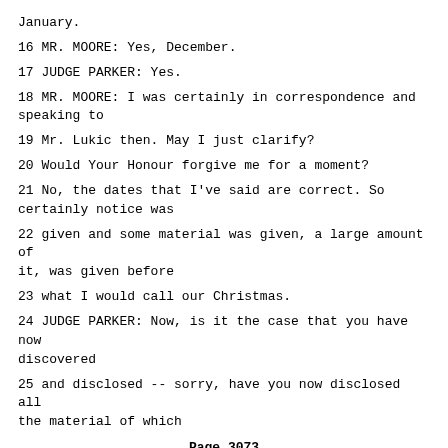January.
16 MR. MOORE: Yes, December.
17 JUDGE PARKER: Yes.
18 MR. MOORE: I was certainly in correspondence and speaking to
19 Mr. Lukic then. May I just clarify?
20 Would Your Honour forgive me for a moment?
21 No, the dates that I've said are correct. So certainly notice was
22 given and some material was given, a large amount of it, was given before
23 what I would call our Christmas.
24 JUDGE PARKER: Now, is it the case that you have now discovered
25 and disclosed -- sorry, have you now disclosed all the material of which
Page 3073
1 you're aware?
2 MR. MOORE: Yes, I don't believe there is any other